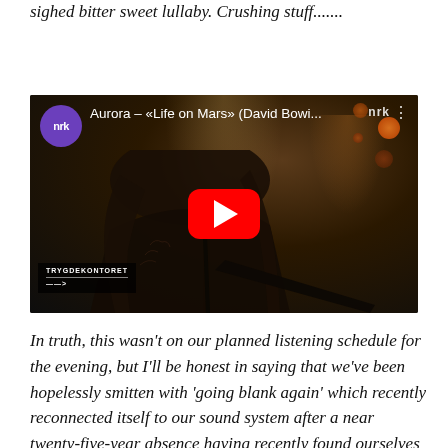sighed bitter sweet lullaby. Crushing stuff.......
[Figure (screenshot): Embedded YouTube video thumbnail showing Aurora performing 'Life on Mars' (David Bowie cover) on NRK. A woman with long hair is shown playing guitar on a dimly lit stage. A red YouTube play button is overlaid in the center. NRK logo appears top-left and top-right. A 'TRYGDEKONTORET' banner appears bottom-left.]
In truth, this wasn't on our planned listening schedule for the evening, but I'll be honest in saying that we've been hopelessly smitten with 'going blank again' which recently reconnected itself to our sound system after a near twenty-five-year absence having recently found ourselves